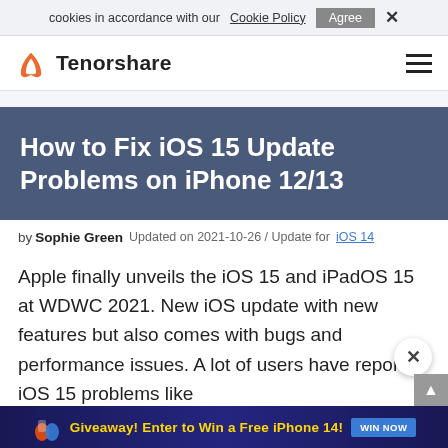cookies in accordance with our Cookie Policy  Agree  X
Tenorshare
How to Fix iOS 15 Update Problems on iPhone 12/13
by Sophie Green Updated on 2021-10-26 / Update for iOS 14
Apple finally unveils the iOS 15 and iPadOS 15 at WDWC 2021. New iOS update with new features but also comes with bugs and performance issues. A lot of users have reported iOS 15 problems like
[Figure (infographic): Bottom advertisement banner: Giveaway! Enter to Win a Free iPhone 14! with WIN NOW button on dark blue background]